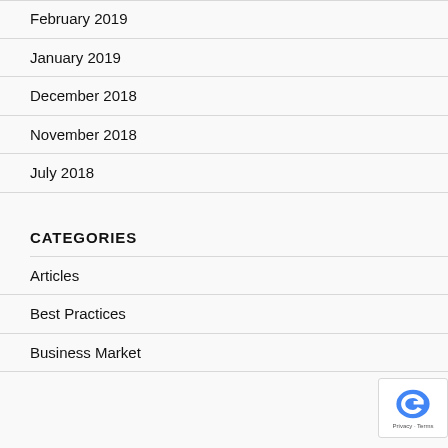February 2019
January 2019
December 2018
November 2018
July 2018
CATEGORIES
Articles
Best Practices
Business Market